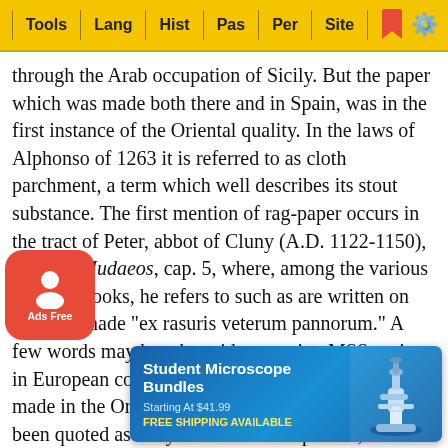Tools | Lang | Hist | Pas | Per | Site
through the Arab occupation of Sicily. But the paper which was made both there and in Spain, was in the first instance of the Oriental quality. In the laws of Alphonso of 1263 it is referred to as cloth parchment, a term which well describes its stout substance. The first mention of rag-paper occurs in the tract of Peter, abbot of Cluny (A.D. 1122-1150), adversus Judaeos, cap. 5, where, among the various kinds of books, he refers to such as are written on material made "ex rasuris veterum pannorum." A few words may here be said respecting MSS. written in European countries on Oriental paper or paper made in the Oriental fashion. Several which have been quoted as early instances have proved, on further examination, to be nothing but vellum. The ancient fragments of the Gospel of St Mark, preserved at Venice, [h] were stated by Maffei to be of paper, by Montfaucon [of] papyrus, and by the Benedictines of bark, are in fact writte[n on vellum. There] was a dee[p ...] [the]re are ot[her MSS. ...] this
[Figure (screenshot): Ads Free button - red rounded square icon with person silhouette and text 'Ads Free']
[Figure (screenshot): Banner advertisement for Student Microscope Bundles. Starting At $41.99. FREE SHIPPING AVAILABLE. Blue background with microscope image on right.]